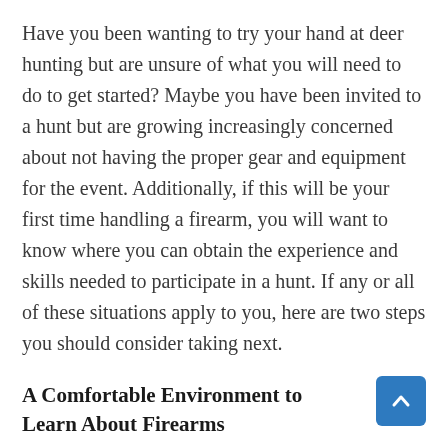Have you been wanting to try your hand at deer hunting but are unsure of what you will need to do to get started? Maybe you have been invited to a hunt but are growing increasingly concerned about not having the proper gear and equipment for the event. Additionally, if this will be your first time handling a firearm, you will want to know where you can obtain the experience and skills needed to participate in a hunt. If any or all of these situations apply to you, here are two steps you should consider taking next.
A Comfortable Environment to Learn About Firearms